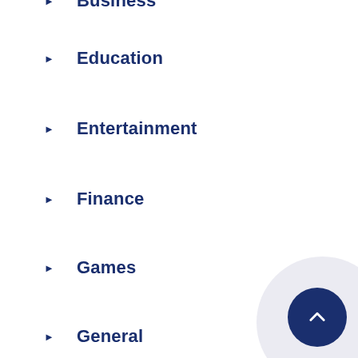Business
Education
Entertainment
Finance
Games
General
Health
Medical
Real-Estate
SEO